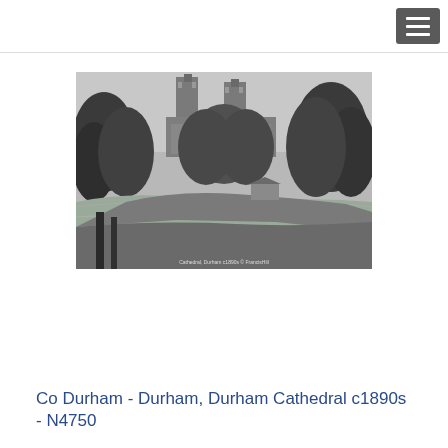[Figure (photo): Black and white photograph of Durham Cathedral c1890s, viewed from across the River Wear with trees in the foreground and the cathedral towers visible above the treeline. A small building is visible near the riverbank.]
Co Durham - Durham, Durham Cathedral c1890s - N4750